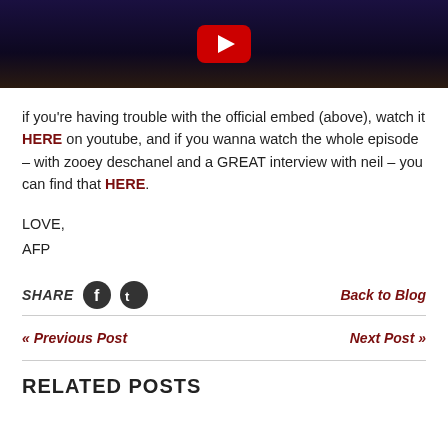[Figure (screenshot): YouTube video thumbnail with dark blue/purple background and red YouTube play button icon]
if you're having trouble with the official embed (above), watch it HERE on youtube, and if you wanna watch the whole episode – with zooey deschanel and a GREAT interview with neil – you can find that HERE.
LOVE,
AFP
SHARE [Facebook icon] [Twitter icon]    Back to Blog
« Previous Post    Next Post »
RELATED POSTS